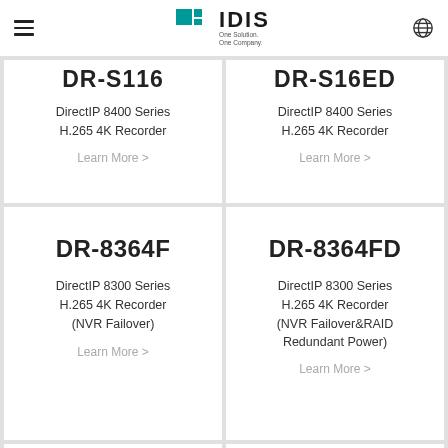IDIS – One Solution. One Company.
DR-S116 — DirectIP 8400 Series H.265 4K Recorder — Learn More >
DR-S16ED — DirectIP 8400 Series H.265 4K Recorder — Learn More >
DR-8364F — DirectIP 8300 Series H.265 4K Recorder (NVR Failover) — Learn More >
DR-8364FD — DirectIP 8300 Series H.265 4K Recorder (NVR Failover&RAID Redundant Power) — Learn More >